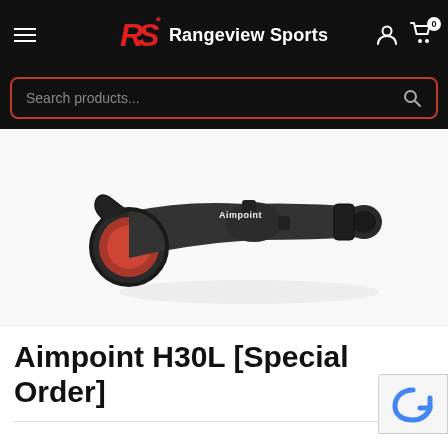RS Rangeview Sports
[Figure (photo): Aimpoint H30L red dot rifle scope, matte black finish, viewed at an angle showing the front lens with orange/red tint, with flip-up lens caps and adjustment turrets visible]
Aimpoint H30L [Special Order]